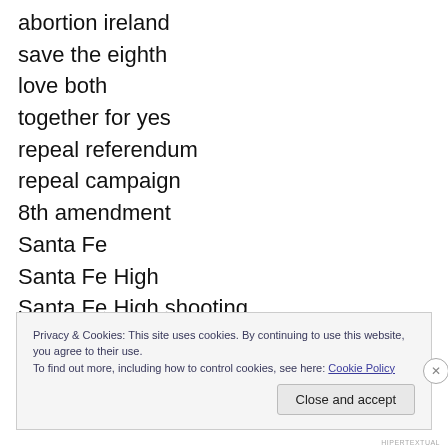abortion ireland
save the eighth
love both
together for yes
repeal referendum
repeal campaign
8th amendment
Santa Fe
Santa Fe High
Santa Fe High shooting
Santa Fe High shooter
Privacy & Cookies: This site uses cookies. By continuing to use this website, you agree to their use.
To find out more, including how to control cookies, see here: Cookie Policy
Close and accept
HIPERTEXTUAL